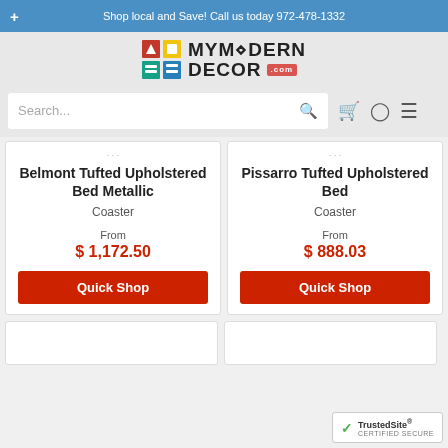Shop local and Save! Call us today 972-478-1332
[Figure (logo): MyModern Decor logo with colorful grid squares and text MYMODERN DECOR .com]
Search...
Belmont Tufted Upholstered Bed Metallic
Coaster
From
$ 1,172.50
Pissarro Tufted Upholstered Bed
Coaster
From
$ 888.03
[Figure (logo): TrustedSite Certified Secure badge]